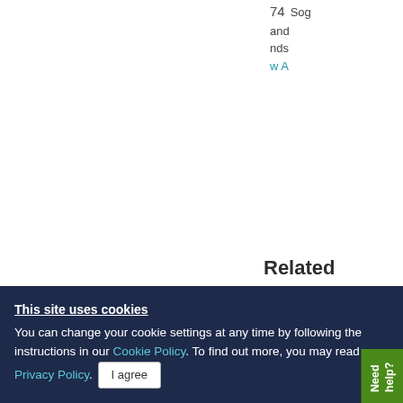74  Sog... and... nds...
w A...
Related
Indu... hepa...
Antic... arre... hepatoce...
[Corrige... B-oleanol...
This site uses cookies
You can change your cookie settings at any time by following the instructions in our Cookie Policy. To find out more, you may read our Privacy Policy.